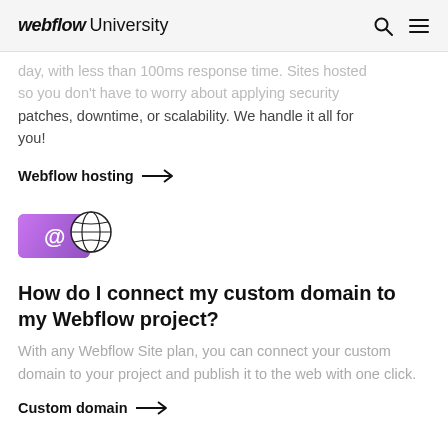webflow University
day, with less than 100ms response time. Sites hosted so you don't have to worry about applying security patches, downtime, or scalability. We handle it all for you!
Webflow hosting →
[Figure (illustration): Icon showing a purple envelope with @ symbol and a globe/world icon outline]
How do I connect my custom domain to my Webflow project?
With any Webflow Site plan, you can connect your custom domain to your project and publish it to the web with one click.
Custom domain →